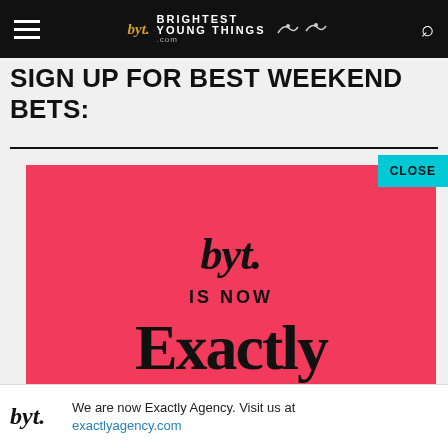byt. BRIGHTEST YOUNG THINGS
SIGN UP FOR BEST WEEKEND BETS:
[Figure (advertisement): Red advertisement banner for BYT (Brightest Young Things) rebranding as Exactly Agency. Pink/red background with black script logo 'byt.' at top, text 'IS NOW', large serif 'Exactly' wordmark, and 'VISIT US AT WWW.EXACTLYAGENCY.COM' at bottom. A cyan 'CLOSE' button overlaps top-right corner.]
We are now Exactly Agency. Visit us at exactlyagency.com